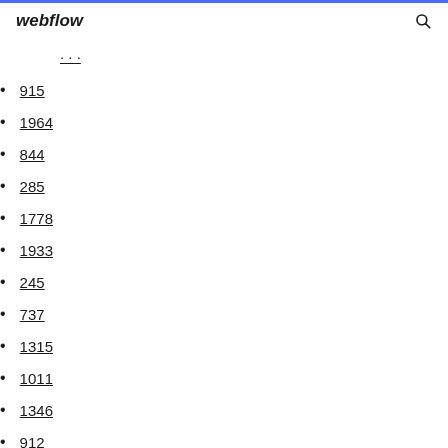webflow
...
915
1964
844
285
1778
1933
245
737
1315
1011
1346
912